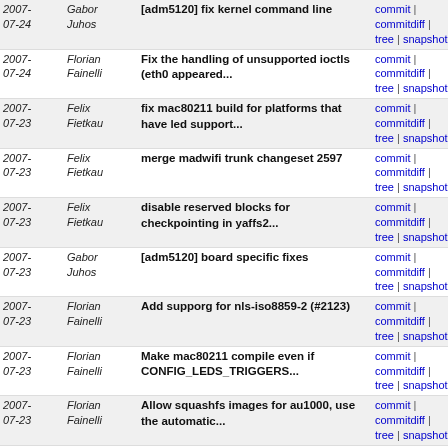| Date | Author | Message | Links |
| --- | --- | --- | --- |
| 2007-07-24 | Gabor Juhos | [adm5120] fix kernel command line | commit | commitdiff | tree | snapshot |
| 2007-07-24 | Florian Fainelli | Fix the handling of unsupported ioctls (eth0 appeared... | commit | commitdiff | tree | snapshot |
| 2007-07-23 | Felix Fietkau | fix mac80211 build for platforms that have led support... | commit | commitdiff | tree | snapshot |
| 2007-07-23 | Felix Fietkau | merge madwifi trunk changeset 2597 | commit | commitdiff | tree | snapshot |
| 2007-07-23 | Felix Fietkau | disable reserved blocks for checkpointing in yaffs2... | commit | commitdiff | tree | snapshot |
| 2007-07-23 | Gabor Juhos | [adm5120] board specific fixes | commit | commitdiff | tree | snapshot |
| 2007-07-23 | Florian Fainelli | Add supporg for nls-iso8859-2 (#2123) | commit | commitdiff | tree | snapshot |
| 2007-07-23 | Florian Fainelli | Make mac80211 compile even if CONFIG_LEDS_TRIGGERS... | commit | commitdiff | tree | snapshot |
| 2007-07-23 | Florian Fainelli | Allow squashfs images for au1000, use the automatic... | commit | commitdiff | tree | snapshot |
| 2007-07-23 | Gabor Juhos | haserl in /packages/utils since [8006] | commit | commitdiff | tree | snapshot |
| 2007-07-23 | Gabor Juhos | [adm5120] cleanup patches | commit | commitdiff | tree | snapshot |
| 2007-07-23 | Felix Fietkau | avr32 will not be in the 7.07 release - wasn't ready... | commit | commitdiff | tree | snapshot |
| 2007-07-23 | Felix Fietkau | simplify and fix adm5120 image building, fix broken... | commit | commitdiff | tree | snapshot |
| 2007-07-23 | Felix | another attempt at fixing the | commit |